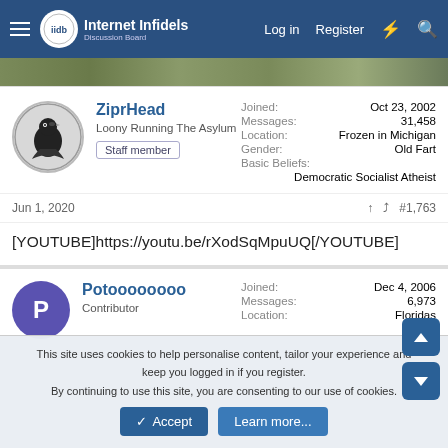Internet Infidels | Log in | Register
[Figure (screenshot): Banner image with nature/outdoor scenery]
ZiprHead
Loony Running The Asylum
Staff member
Joined: Oct 23, 2002
Messages: 31,458
Location: Frozen in Michigan
Gender: Old Fart
Basic Beliefs: Democratic Socialist Atheist
Jun 1, 2020  #1,763
[YOUTUBE]https://youtu.be/rXodSqMpuUQ[/YOUTUBE]
Potoooooooo
Contributor
Joined: Dec 4, 2006
Messages: 6,973
Location: Floridas
This site uses cookies to help personalise content, tailor your experience and keep you logged in if you register.
By continuing to use this site, you are consenting to our use of cookies.